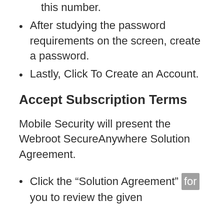this number.
After studying the password requirements on the screen, create a password.
Lastly, Click To Create an Account.
Accept Subscription Terms
Mobile Security will present the Webroot SecureAnywhere Solution Agreement.
Click the “Solution Agreement” for you to review the given